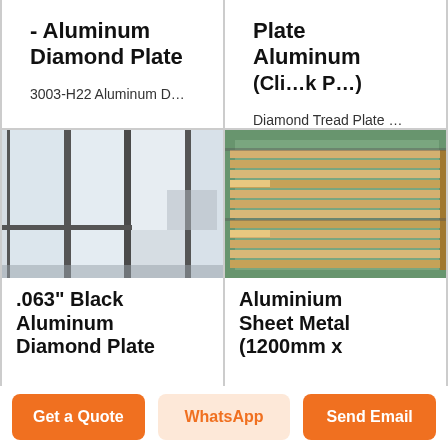- Aluminum Diamond Plate
3003-H22 Aluminum D…
Plate Aluminum (Cli…k P…)
Diamond Tread Plate …
[Figure (photo): Glass partition wall panels in an office interior, frosted glass with dark aluminum frames]
.063" Black Aluminum Diamond Plate
[Figure (photo): Stacks of aluminium sheet metal stored in an industrial warehouse with green floor]
Aluminium Sheet Metal (1200mm x
Get a Quote | WhatsApp | Send Email